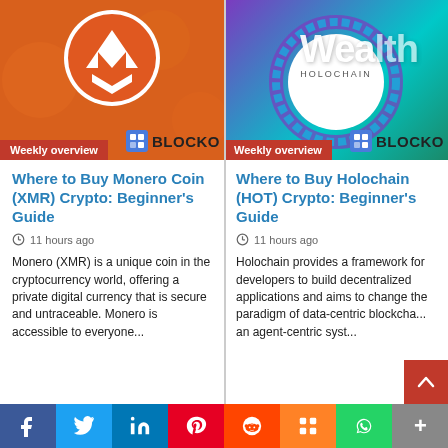[Figure (screenshot): Monero (XMR) crypto article card with orange background, Monero logo, Weekly overview badge, and Blockonomi watermark]
Where to Buy Monero Coin (XMR) Crypto: Beginner's Guide
11 hours ago
Monero (XMR) is a unique coin in the cryptocurrency world, offering a private digital currency that is secure and untraceable. Monero is accessible to everyone...
[Figure (screenshot): Holochain (HOT) crypto article card with purple-teal gradient background, Holochain logo, Weekly overview badge, and Blockonomi watermark]
Where to Buy Holochain (HOT) Crypto: Beginner's Guide
11 hours ago
Holochain provides a framework for developers to build decentralized applications and aims to change the paradigm of data-centric blockcha... an agent-centric syst...
f  Twitter  in  Pinterest  Reddit  Mix  WhatsApp  +